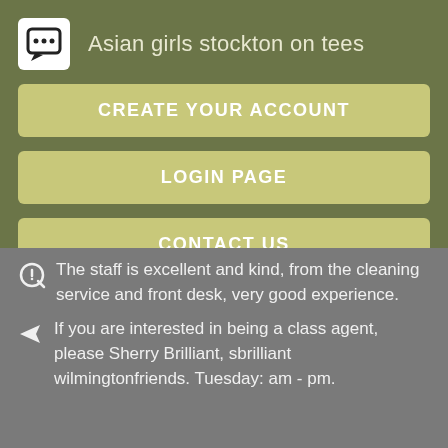Asian girls stockton on tees
CREATE YOUR ACCOUNT
LOGIN PAGE
CONTACT US
The staff is excellent and kind, from the cleaning service and front desk, very good experience.
If you are interested in being a class agent, please Sherry Brilliant, sbrilliant wilmingtonfriends. Tuesday: am - pm.